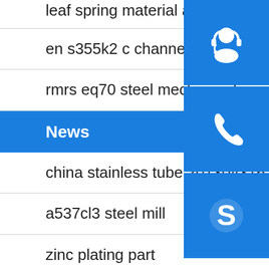leaf spring material alloy tool steel flat bar
en s355k2 c channel manufacturer
rmrs eq70 steel mechanical properties
News
china stainless tube 201304316 forto tube
a537cl3 steel mill
zinc plating part
s355 angle iron distributor
astm a588 gr c steel specification